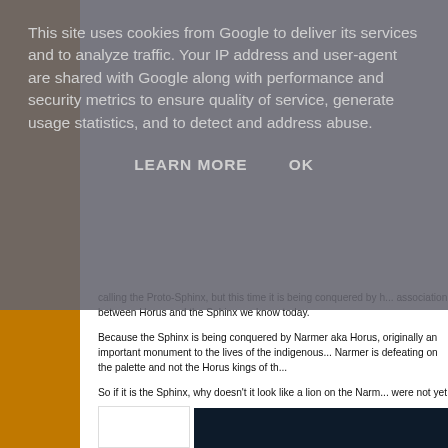This site uses cookies from Google to deliver its services and to analyze traffic. Your IP address and user-agent are shared with Google along with performance and security metrics to ensure quality of service, generate usage statistics, and to detect and address abuse.
LEARN MORE   OK
calling the Proto-Sphinx, but this time it is being conquered by h... association between Horus and the Sphinx we know today.
Because the Sphinx is being conquered by Narmer aka Horus, originally an important monument to the lives of the indigenous... Narmer is defeating on the palette and not the Horus kings of th...
So if it is the Sphinx, why doesn't it look like a lion on the Narm... were not yet carved. The dynastic kings could have quarried do... the country was unified or even in the 4th dynasty. Alternatively a larger piece of bedrock and the dynastic Egyptians simply car... also re-carving the head too. We simply don't know, but stylistic matches the lion statuettes found in early dynastic tombs, indic... dynastic or Old Kingdom in origin.
[Figure (photo): Dark image strip at the bottom of the page, partially visible]